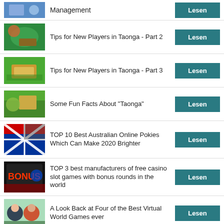Management
Tips for New Players in Taonga - Part 2
Tips for New Players in Taonga - Part 3
Some Fun Facts About "Taonga"
TOP 10 Best Australian Online Pokies Which Can Make 2020 Brighter
TOP 3 best manufacturers of free casino slot games with bonus rounds in the world
A Look Back at Four of the Best Virtual World Games ever
Why are Idle Games so Popular Among Mobile Gamers?